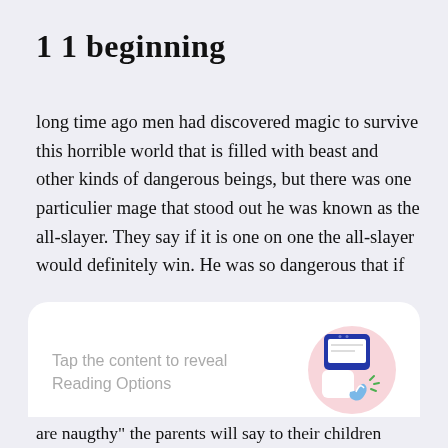1 1 beginning
long time ago men had discovered magic to survive this horrible world that is filled with beast and other kinds of dangerous beings, but there was one particulier mage that stood out he was known as the all-slayer. They say if it is one on one the all-slayer would definitely win. He was so dangerous that if
[Figure (screenshot): A UI overlay card on a reading app with text 'Tap the content to reveal Reading Options' alongside an illustration of a finger tapping a phone screen, and a 'GOT IT' button below.]
are naugthy" the parents will say to their children